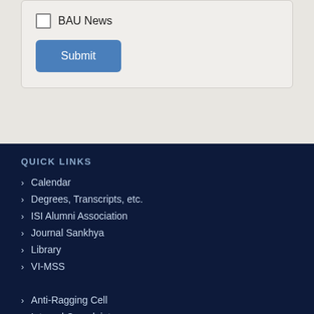BAU News
Submit
QUICK LINKS
Calendar
Degrees, Transcripts, etc.
ISI Alumni Association
Journal Sankhya
Library
VI-MSS
Anti-Ragging Cell
Internal Complaints